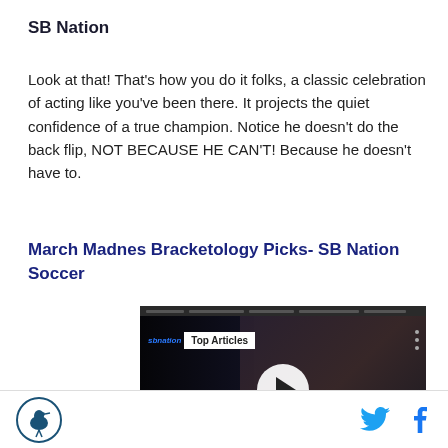SB Nation
Look at that! That's how you do it folks, a classic celebration of acting like you've been there. It projects the quiet confidence of a true champion. Notice he doesn't do the back flip, NOT BECAUSE HE CAN'T! Because he doesn't have to.
March Madnes Bracketology Picks- SB Nation Soccer
[Figure (screenshot): Video player screenshot showing a basketball player in a Brooklyn Nets jersey with a 'Top Articles' badge overlay and a play button in the center.]
SB Nation logo, Twitter icon, Facebook icon